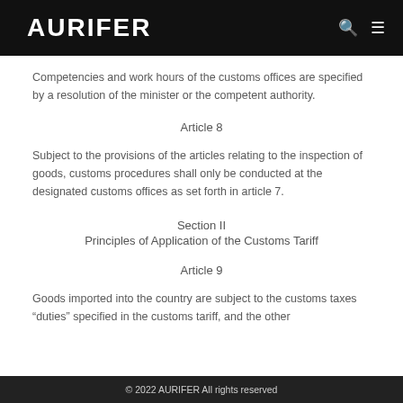AURIFER
Competencies and work hours of the customs offices are specified by a resolution of the minister or the competent authority.
Article 8
Subject to the provisions of the articles relating to the inspection of goods, customs procedures shall only be conducted at the designated customs offices as set forth in article 7.
Section II
Principles of Application of the Customs Tariff
Article 9
Goods imported into the country are subject to the customs taxes “duties” specified in the customs tariff, and the other
© 2022 AURIFER All rights reserved